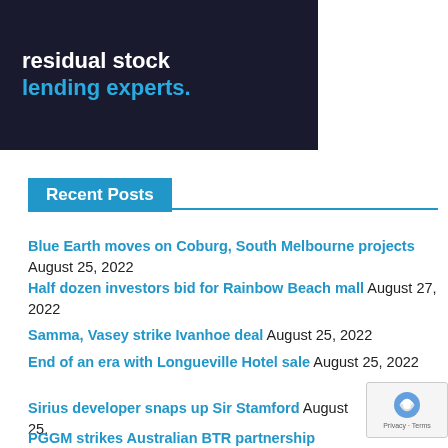[Figure (photo): Dark banner image with building/skyscraper background showing text 'residual stock' in white and 'lending experts.' in cyan blue]
Recent Posts
Blue Earth moves on Coburg, South Melbourne projects August 25, 2022
Half dozen investors bid for Rainbow Beach mall August 27, 2022
Samma, Vasey strike Ivanhoe deal August 25, 2022
End of an era with Longueville Hotel sale August 25, 2022
Sirius developer snaps up Sir Stamford August 25,
PGGM strikes Australian BTR partnership August 25,